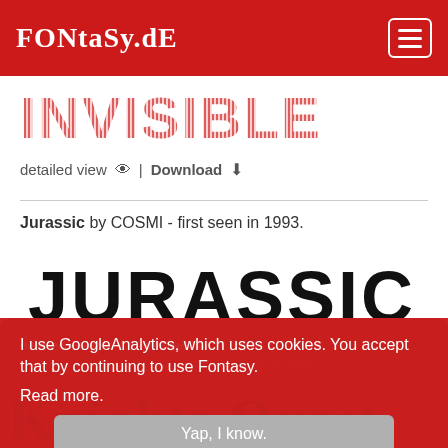FONtaSy.dE
[Figure (illustration): INVISIBLE text rendered in decorative red striped font]
detailed view | Download
Jurassic by COSMI - first seen in 1993.
[Figure (illustration): JURASSIC text rendered in bold black display font]
detailed view | Download
I use GoogleAnalytics, which uses cookies. You accept that by continuing to use Fontasy. Read more.
Yap, I know.
Knights Quest by Gemfonts - first seen in 1998.
[Figure (illustration): KNIGHTS QUEST text rendered in dark red serif fantasy font]